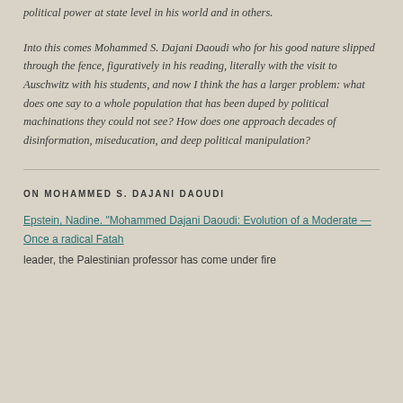political power at state level in his world and in others.
Into this comes Mohammed S. Dajani Daoudi who for his good nature slipped through the fence, figuratively in his reading, literally with the visit to Auschwitz with his students, and now I think the has a larger problem: what does one say to a whole population that has been duped by political machinations they could not see? How does one approach decades of disinformation, miseducation, and deep political manipulation?
ON MOHAMMED S. DAJANI DAOUDI
Epstein, Nadine. "Mohammed Dajani Daoudi: Evolution of a Moderate — Once a radical Fatah leader, the Palestinian professor has come under fire